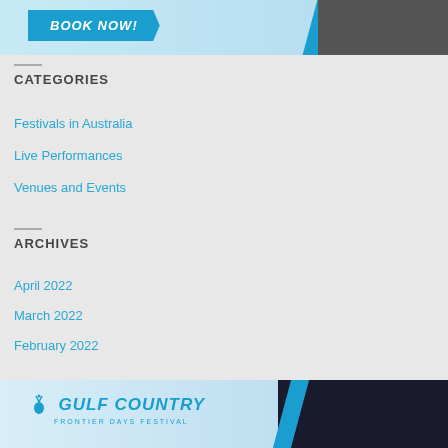[Figure (photo): Banner advertisement with 'BOOK NOW!' button on light blue background with person image on right]
CATEGORIES
Festivals in Australia
Live Performances
Venues and Events
ARCHIVES
April 2022
March 2022
February 2022
[Figure (logo): Gulf Country Frontier Days Festival logo banner with dark blue concert background]